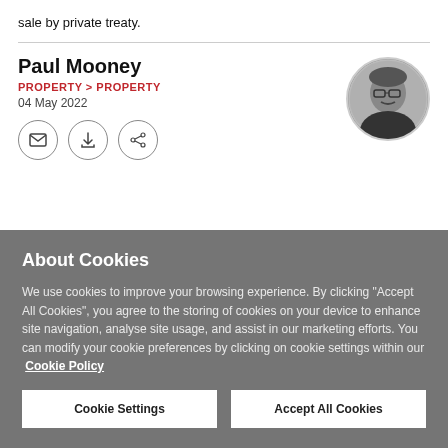sale by private treaty.
Paul Mooney
PROPERTY > PROPERTY
04 May 2022
[Figure (photo): Circular headshot photo of Paul Mooney, a man with glasses and a mustache, wearing a dark shirt, black and white photo]
About Cookies
We use cookies to improve your browsing experience. By clicking "Accept All Cookies", you agree to the storing of cookies on your device to enhance site navigation, analyse site usage, and assist in our marketing efforts. You can modify your cookie preferences by clicking on cookie settings within our Cookie Policy
Cookie Settings
Accept All Cookies